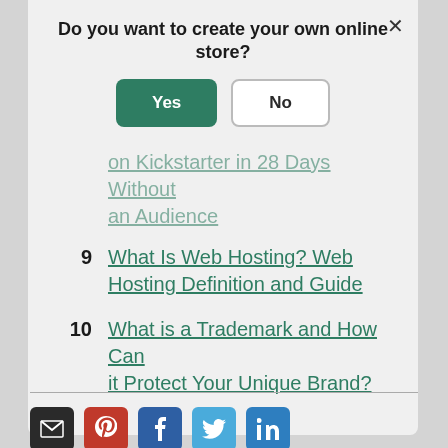Do you want to create your own online store?
Yes | No
...on Kickstarter in 28 Days Without an Audience
9 What Is Web Hosting? Web Hosting Definition and Guide
10 What is a Trademark and How Can it Protect Your Unique Brand?
[Figure (infographic): Social sharing icons: email (black), Pinterest (red), Facebook (blue), Twitter (light blue), LinkedIn (blue)]